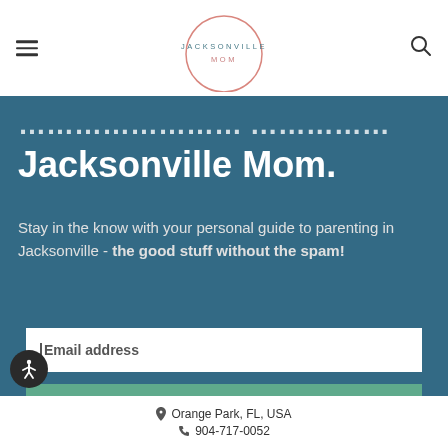Jacksonville Mom (logo header with hamburger menu and search icon)
Jacksonville Mom.
Stay in the know with your personal guide to parenting in Jacksonville - the good stuff without the spam!
Email address
Subscribe
Orange Park, FL, USA
904-717-0052